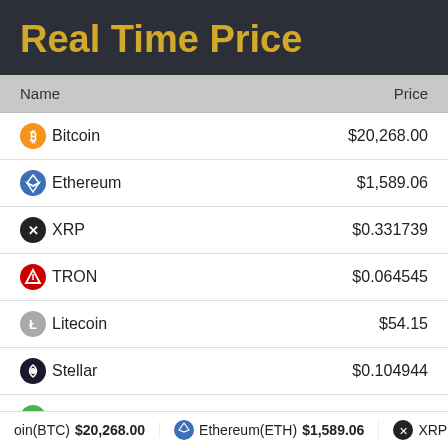Real Time Price
| Name | Price |
| --- | --- |
| Bitcoin | $20,268.00 |
| Ethereum | $1,589.06 |
| XRP | $0.331739 |
| TRON | $0.064545 |
| Litecoin | $54.15 |
| Stellar | $0.104944 |
| Bitcoin Cash | $116.63 |
Bitcoin(BTC) $20,268.00   Ethereum(ETH) $1,589.06   XRP(XRP)